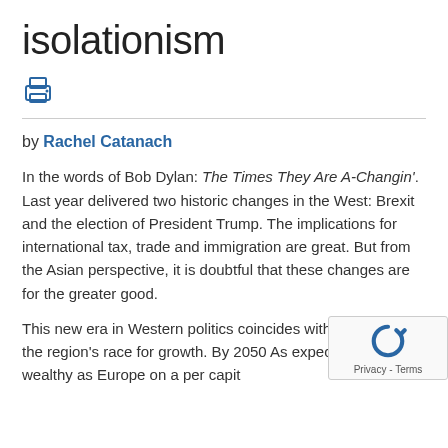isolationism
[Figure (other): Print icon (printer symbol)]
by Rachel Catanach
In the words of Bob Dylan: The Times They Are A-Changin'. Last year delivered two historic changes in the West: Brexit and the election of President Trump. The implications for international tax, trade and immigration are great. But from the Asian perspective, it is doubtful that these changes are for the greater good.
This new era in Western politics coincides with the Century, the region's race for growth. By 2050 As expected to be as wealthy as Europe on a per capit basis and the story of an emerging Asia has defined